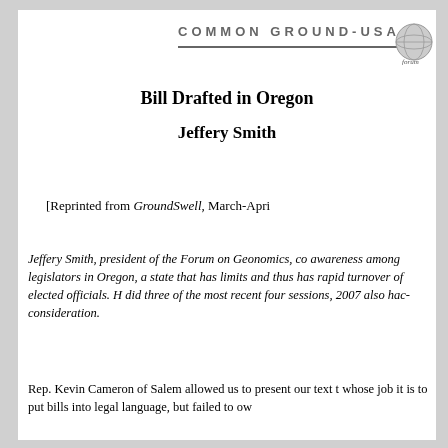COMMON GROUND-USA
Bill Drafted in Oregon
Jeffery Smith
[Reprinted from GroundSwell, March-Apri
Jeffery Smith, president of the Forum on Geonomics, co awareness among legislators in Oregon, a state that has limits and thus has rapid turnover of elected officials. H did three of the most recent four sessions, 2007 also hac consideration.
Rep. Kevin Cameron of Salem allowed us to present our text t whose job it is to put bills into legal language, but failed to ow